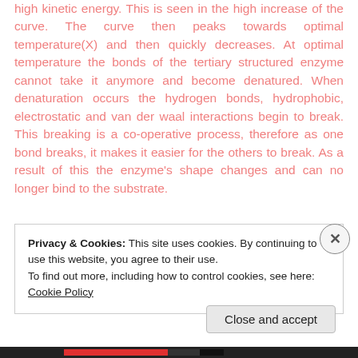high kinetic energy. This is seen in the high increase of the curve. The curve then peaks towards optimal temperature(X) and then quickly decreases. At optimal temperature the bonds of the tertiary structured enzyme cannot take it anymore and become denatured. When denaturation occurs the hydrogen bonds, hydrophobic, electrostatic and van der waal interactions begin to break. This breaking is a co-operative process, therefore as one bond breaks, it makes it easier for the others to break. As a result of this the enzyme's shape changes and can no longer bind to the substrate.
Privacy & Cookies: This site uses cookies. By continuing to use this website, you agree to their use.
To find out more, including how to control cookies, see here: Cookie Policy
Close and accept